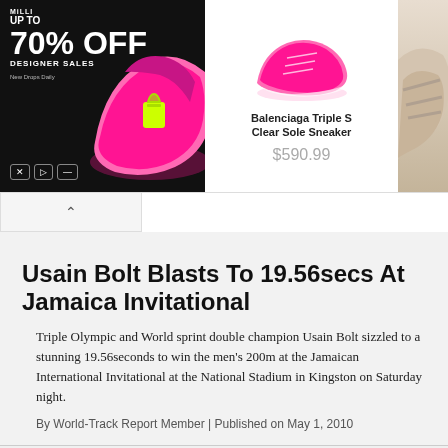[Figure (screenshot): Advertisement banner showing 'UP TO 70% OFF DESIGNER SALES' with colorful shoes on left side, and Balenciaga Triple S Clear Sole Sneaker priced at $590.99 with pink sneaker image on right side]
By World-Track Report Member | Published on May 1, 2010
Usain Bolt Blasts To 19.56secs At Jamaica Invitational
Triple Olympic and World sprint double champion Usain Bolt sizzled to a stunning 19.56seconds to win the men's 200m at the Jamaican International Invitational at the National Stadium in Kingston on Saturday night.
By World-Track Report Member | Published on May 1, 2010
By Gary Smith